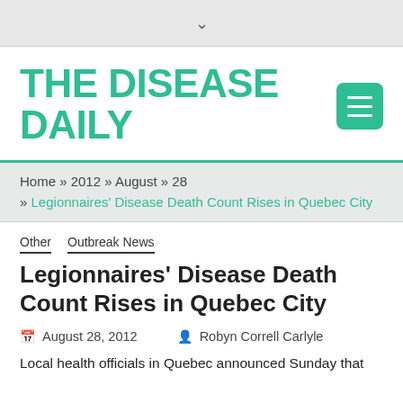THE DISEASE DAILY
Home » 2012 » August » 28 » Legionnaires' Disease Death Count Rises in Quebec City
Other   Outbreak News
Legionnaires' Disease Death Count Rises in Quebec City
August 28, 2012   Robyn Correll Carlyle
Local health officials in Quebec announced Sunday that